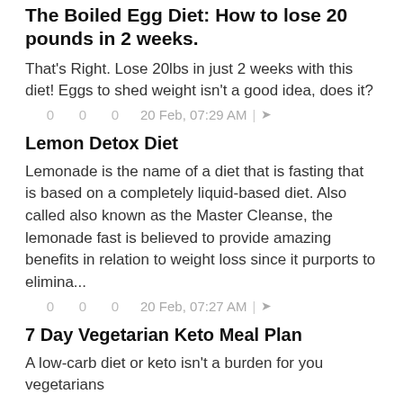The Boiled Egg Diet: How to lose 20 pounds in 2 weeks.
That's Right. Lose 20lbs in just 2 weeks with this diet! Eggs to shed weight isn't a good idea, does it?
0   0   0   20 Feb, 07:29 AM | ➦
Lemon Detox Diet
Lemonade is the name of a diet that is fasting that is based on a completely liquid-based diet. Also called also known as the Master Cleanse, the lemonade fast is believed to provide amazing benefits in relation to weight loss since it purports to elimina...
0   0   0   20 Feb, 07:27 AM | ➦
7 Day Vegetarian Keto Meal Plan
A low-carb diet or keto isn't a burden for you vegetarians